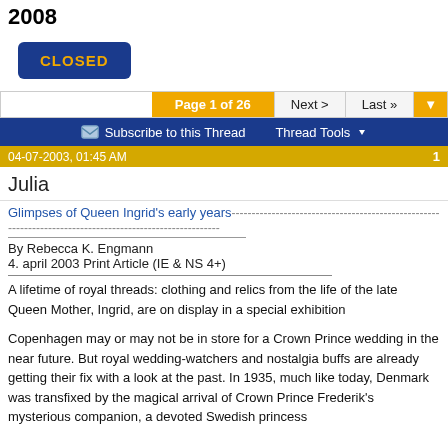2008
[Figure (screenshot): CLOSED button — dark blue rounded rectangle with gold text 'CLOSED']
Page 1 of 26  Next >  Last »
Subscribe to this Thread   Thread Tools
04-07-2003, 01:45 AM   1
Julia
Glimpses of Queen Ingrid&#39;s early years
By Rebecca K. Engmann
4. april 2003 Print Article (IE & NS 4+)
A lifetime of royal threads: clothing and relics from the life of the late Queen Mother, Ingrid, are on display in a special exhibition
Copenhagen may or may not be in store for a Crown Prince wedding in the near future. But royal wedding-watchers and nostalgia buffs are already getting their fix with a look at the past. In 1935, much like today, Denmark was transfixed by the magical arrival of Crown Prince Frederik&#39;s mysterious companion, a devoted Swedish princess